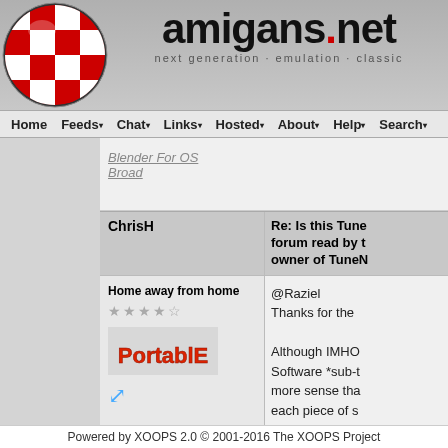[Figure (logo): Amigans.net website header with red/white checkered ball logo and site name 'amigans.net' with tagline 'next generation · emulation · classic']
Home  Feeds  Chat  Links  Hosted  About  Help  Search
Blender For OS... Broad
Re: Is this Tune... forum read by t... owner of TuneN...
ChrisH
Home away from home
@Raziel Thanks for the... Although IMHO Software *sub-... more sense tha... each piece of s... own thread(s),... for users to see... discussed befo... respective dev... anything releva... posted.)
Powered by XOOPS 2.0 © 2001-2016 The XOOPS Project